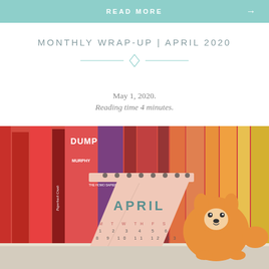READ MORE →
MONTHLY WRAP-UP | APRIL 2020
May 1, 2020.
Reading time 4 minutes.
[Figure (photo): Colorful bookshelf with red and orange spines, including titles like Dumplin by Murphy, Simon vs The Homo Sapiens Agenda. A pink April desk calendar with an illustrated corgi cat is propped in front of the books.]